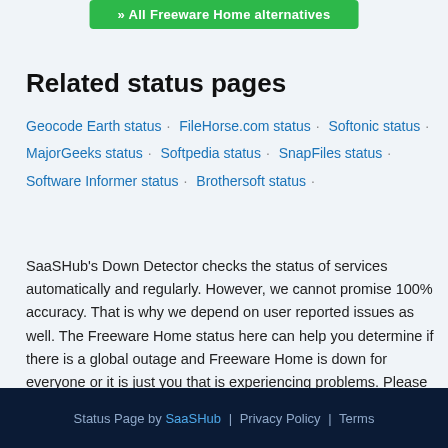[Figure (other): Green button: » All Freeware Home alternatives]
Related status pages
Geocode Earth status · FileHorse.com status · Softonic status · MajorGeeks status · Softpedia status · SnapFiles status · Software Informer status · Brothersoft status ·
SaaSHub's Down Detector checks the status of services automatically and regularly. However, we cannot promise 100% accuracy. That is why we depend on user reported issues as well. The Freeware Home status here can help you determine if there is a global outage and Freeware Home is down for everyone or it is just you that is experiencing problems. Please report any issues to help others know the current status.
Status Page by SaaSHub | Privacy Policy | Terms